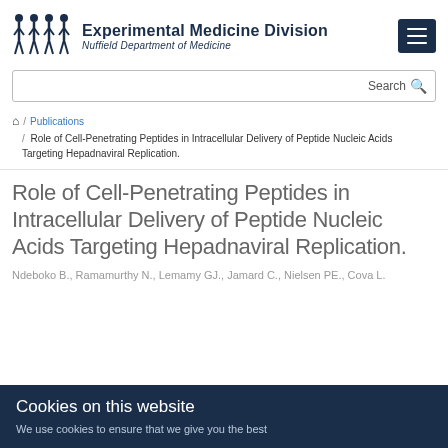Experimental Medicine Division — Nuffield Department of Medicine
Search
🏠 / Publications / Role of Cell-Penetrating Peptides in Intracellular Delivery of Peptide Nucleic Acids Targeting Hepadnaviral Replication.
Role of Cell-Penetrating Peptides in Intracellular Delivery of Peptide Nucleic Acids Targeting Hepadnaviral Replication.
Ndeboko B., Ramamurthy N., Lemamy GJ., Jamard C., Nielsen PE., Cova L.
Cookies on this website
We use cookies to ensure that we give you the best